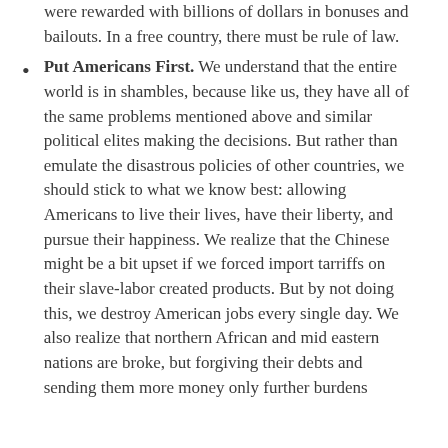were rewarded with billions of dollars in bonuses and bailouts. In a free country, there must be rule of law.
Put Americans First. We understand that the entire world is in shambles, because like us, they have all of the same problems mentioned above and similar political elites making the decisions. But rather than emulate the disastrous policies of other countries, we should stick to what we know best: allowing Americans to live their lives, have their liberty, and pursue their happiness. We realize that the Chinese might be a bit upset if we forced import tarriffs on their slave-labor created products. But by not doing this, we destroy American jobs every single day. We also realize that northern African and mid eastern nations are broke, but forgiving their debts and sending them more money only further burdens